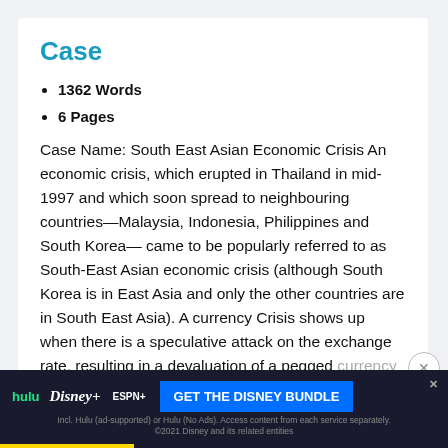Case
1362 Words
6 Pages
Case Name: South East Asian Economic Crisis An economic crisis, which erupted in Thailand in mid-1997 and which soon spread to neighbouring countries—Malaysia, Indonesia, Philippines and South Korea— came to be popularly referred to as South-East Asian economic crisis (although South Korea is in East Asia and only the other countries are in South East Asia). A currency Crisis shows up when there is a speculative attack on the exchange rate, resulting in a devaluation of a pegged currency or sharp...
[Figure (other): Disney Bundle advertisement banner featuring Hulu, Disney+, and ESPN+ logos with a 'GET THE DISNEY BUNDLE' call-to-action button]